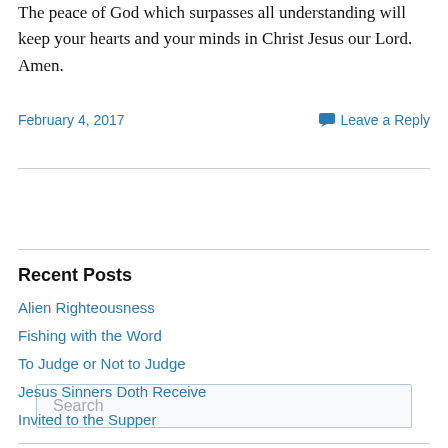The peace of God which surpasses all understanding will keep your hearts and your minds in Christ Jesus our Lord. Amen.
February 4, 2017
Leave a Reply
Search
Recent Posts
Alien Righteousness
Fishing with the Word
To Judge or Not to Judge
Jesus Sinners Doth Receive
Invited to the Supper